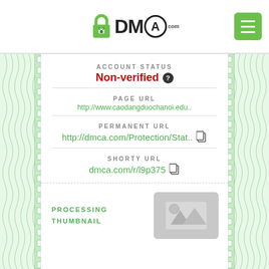DMCA.com
ACCOUNT STATUS
Non-verified
PAGE URL
http://www.caodangduochanoi.edu..
PERMANENT URL
http://dmca.com/Protection/Stat..
SHORTY URL
dmca.com/r/l9p375
PROCESSING THUMBNAIL